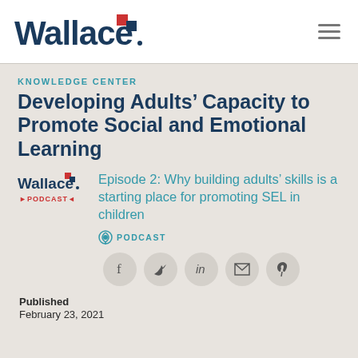[Figure (logo): Wallace Foundation logo with stylized red/navy square icon and 'Wallace' wordmark in navy blue]
KNOWLEDGE CENTER
Developing Adults’ Capacity to Promote Social and Emotional Learning
Episode 2: Why building adults’ skills is a starting place for promoting SEL in children
PODCAST
[Figure (infographic): Social share icons: Facebook, Twitter, LinkedIn, Email, Pinterest]
Published
February 23, 2021